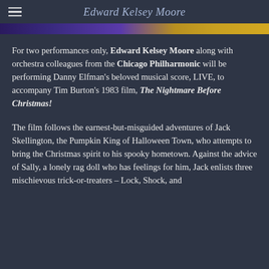Edward Kelsey Moore
[Figure (photo): Partial banner image with purple and yellow/gold colors, appears to be a promotional image for The Nightmare Before Christmas event.]
For two performances only, Edward Kelsey Moore along with orchestra colleagues from the Chicago Philharmonic will be performing Danny Elfman's beloved musical score, LIVE, to accompany Tim Burton's 1983 film, The Nightmare Before Christmas!
The film follows the earnest-but-misguided adventures of Jack Skellington, the Pumpkin King of Halloween Town, who attempts to bring the Christmas spirit to his spooky hometown. Against the advice of Sally, a lonely rag doll who has feelings for him, Jack enlists three mischievous trick-or-treaters – Lock, Shock, and